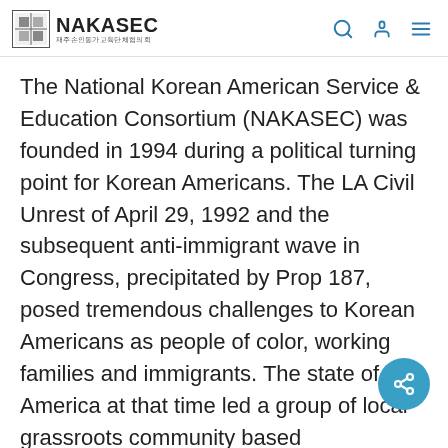NAKASEC
The National Korean American Service & Education Consortium (NAKASEC) was founded in 1994 during a political turning point for Korean Americans. The LA Civil Unrest of April 29, 1992 and the subsequent anti-immigrant wave in Congress, precipitated by Prop 187, posed tremendous challenges to Korean Americans as people of color, working families and immigrants. The state of America at that time led a group of local grassroots community based organizations to come together to form NAKASEC with the purpose of projecting a national progressive voice on major